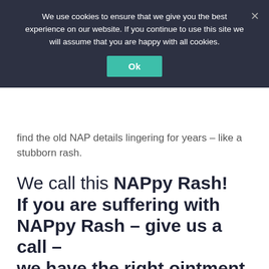We use cookies to ensure that we give you the best experience on our website. If you continue to use this site we will assume that you are happy with all cookies.
find the old NAP details lingering for years – like a stubborn rash.
We call this NAPpy Rash! If you are suffering with NAPpy Rash – give us a call – we have the right ointment.
Future Blog
Why Marketing Needs to Control Telephone Numbers